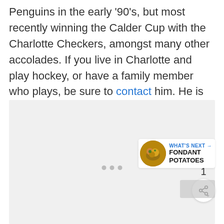Penguins in the early '90's, but most recently winning the Calder Cup with the Charlotte Checkers, amongst many other accolades. If you live in Charlotte and play hockey, or have a family member who plays, be sure to contact him. He is known as one of the best skate sharpeners in the world!
[Figure (photo): Large image placeholder area (light gray), with social interaction buttons (heart/like count of 1, share button), a 'What's Next' card showing Fondant Potatoes with a food thumbnail, and navigation dots.]